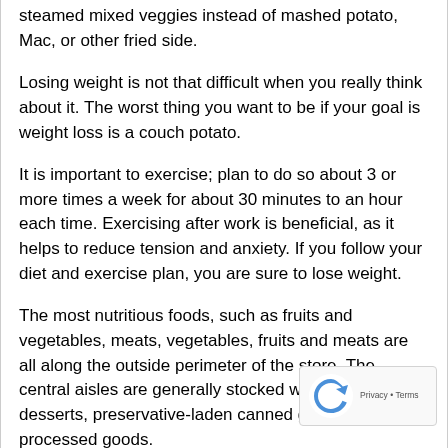steamed mixed veggies instead of mashed potato, Mac, or other fried side.
Losing weight is not that difficult when you really think about it. The worst thing you want to be if your goal is weight loss is a couch potato.
It is important to exercise; plan to do so about 3 or more times a week for about 30 minutes to an hour each time. Exercising after work is beneficial, as it helps to reduce tension and anxiety. If you follow your diet and exercise plan, you are sure to lose weight.
The most nutritious foods, such as fruits and vegetables, meats, vegetables, fruits and meats are all along the outside perimeter of the store. The central aisles are generally stocked with packaged desserts, preservative-laden canned goods and other processed goods.
Preparing your own food rather than eating out can aid achieving your weight loss goals. When eating out,